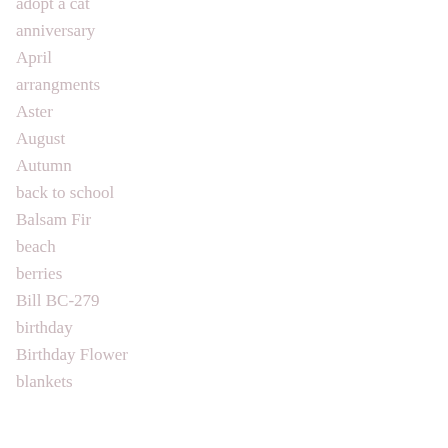adopt a cat
anniversary
April
arrangments
Aster
August
Autumn
back to school
Balsam Fir
beach
berries
Bill BC-279
birthday
Birthday Flower
blankets